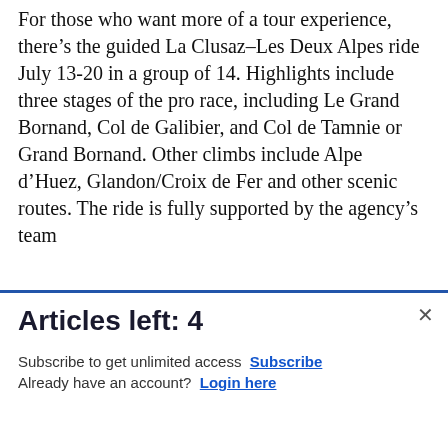For those who want more of a tour experience, there’s the guided La Clusaz–Les Deux Alpes ride July 13-20 in a group of 14. Highlights include three stages of the pro race, including Le Grand Bornand, Col de Galibier, and Col de Tamnie or Grand Bornand. Other climbs include Alpe d’Huez, Glandon/Croix de Fer and other scenic routes. The ride is fully supported by the agency’s team
[Figure (other): Commissary Click2Go advertisement banner with logo and commissary badge]
Articles left: 4
Subscribe to get unlimited access  Subscribe
Already have an account?  Login here